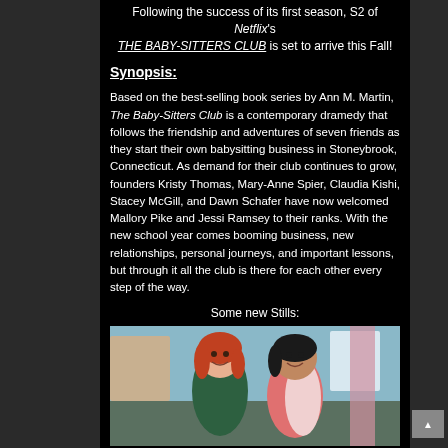Following the success of its first season, S2 of Netflix's THE BABY-SITTERS CLUB is set to arrive this Fall!
Synopsis:
Based on the best-selling book series by Ann M. Martin, The Baby-Sitters Club is a contemporary dramedy that follows the friendship and adventures of seven friends as they start their own babysitting business in Stoneybrook, Connecticut. As demand for their club continues to grow, founders Kristy Thomas, Mary-Anne Spier, Claudia Kishi, Stacey McGill, and Dawn Schafer have now welcomed Mallory Pike and Jessi Ramsey to their ranks. With the new school year comes booming business, new relationships, personal journeys, and important lessons, but through it all the club is there for each other every step of the way.
Some new Stills:
[Figure (photo): Two young girls smiling indoors — one with red hair wearing a dark green top, one with dark hair wearing a pink/white top. Background shows a light blue wall and window with pink fabric.]